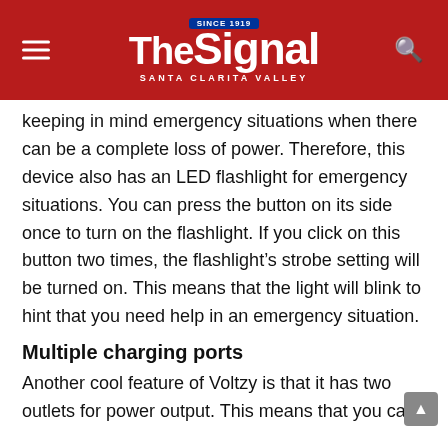The Signal — Santa Clarita Valley
keeping in mind emergency situations when there can be a complete loss of power. Therefore, this device also has an LED flashlight for emergency situations. You can press the button on its side once to turn on the flashlight. If you click on this button two times, the flashlight's strobe setting will be turned on. This means that the light will blink to hint that you need help in an emergency situation.
Multiple charging ports
Another cool feature of Voltzy is that it has two outlets for power output. This means that you can